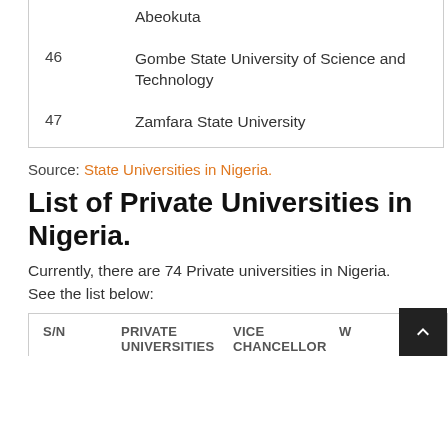| S/N |  |
| --- | --- |
|  | Abeokuta |
| 46 | Gombe State University of Science and Technology |
| 47 | Zamfara State University |
Source: State Universities in Nigeria.
List of Private Universities in Nigeria.
Currently, there are 74 Private universities in Nigeria. See the list below:
| S/N | PRIVATE UNIVERSITIES | VICE CHANCELLOR | W... |
| --- | --- | --- | --- |